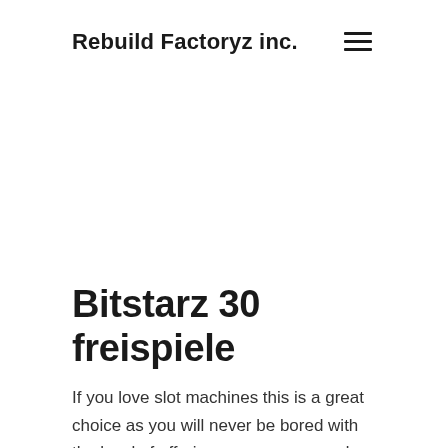Rebuild Factoryz inc.
Bitstarz 30 freispiele
If you love slot machines this is a great choice as you will never be bored with the level of offerings, we recommend you check out the following machines: Ancient Blessings, Big Bad Wolf, Four Lucky Diamonds, Elvis Frog in Vegas, Master of Gold and so much more. Bitstarz ' Most